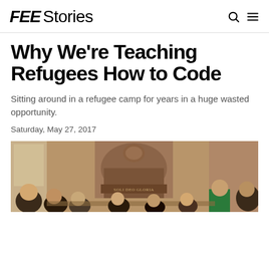FEE Stories
Why We're Teaching Refugees How to Code
Sitting around in a refugee camp for years in a huge wasted opportunity.
Saturday, May 27, 2017
[Figure (photo): Group of young people sitting around tables in a historic building with an arched fireplace bearing the inscription 'SOLI DEO GLORIA', studying or working together.]